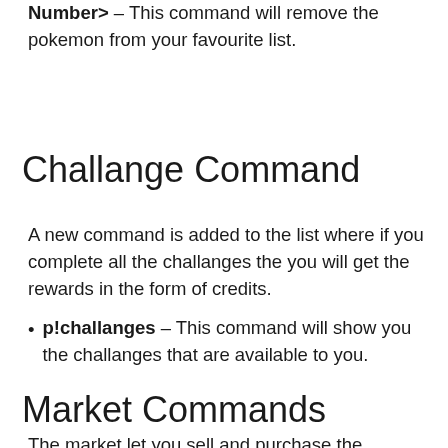Number> – This command will remove the pokemon from your favourite list.
Challange Command
A new command is added to the list where if you complete all the challanges the you will get the rewards in the form of credits.
p!challanges – This command will show you the challanges that are available to you.
Market Commands
The market let you sell and purchase the